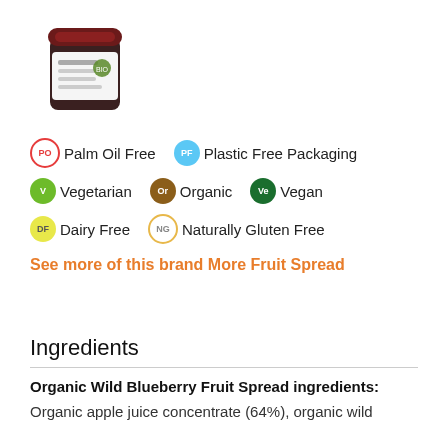[Figure (photo): Jar of organic wild blueberry fruit spread with dark red/purple lid and label]
Palm Oil Free
Plastic Free Packaging
Vegetarian
Organic
Vegan
Dairy Free
Naturally Gluten Free
See more of this brand
More Fruit Spread
Ingredients
Organic Wild Blueberry Fruit Spread ingredients:
Organic apple juice concentrate (64%), organic wild